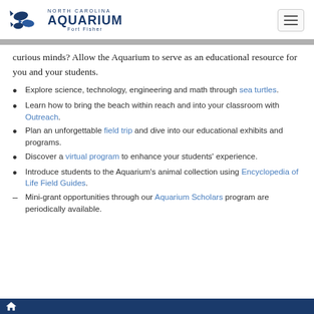North Carolina Aquarium Fort Fisher
curious minds? Allow the Aquarium to serve as an educational resource for you and your students.
Explore science, technology, engineering and math through sea turtles.
Learn how to bring the beach within reach and into your classroom with Outreach.
Plan an unforgettable field trip and dive into our educational exhibits and programs.
Discover a virtual program to enhance your students' experience.
Introduce students to the Aquarium's animal collection using Encyclopedia of Life Field Guides.
Mini-grant opportunities through our Aquarium Scholars program are periodically available.
Home